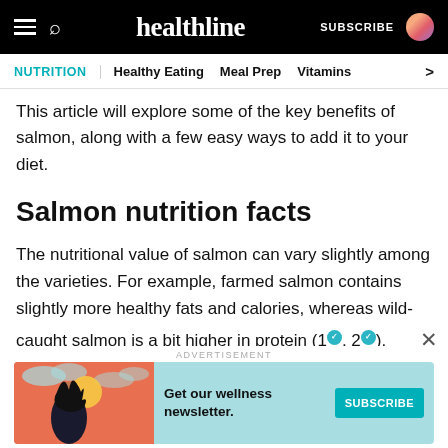healthline — SUBSCRIBE
NUTRITION | Healthy Eating  Meal Prep  Vitamins >
This article will explore some of the key benefits of salmon, along with a few easy ways to add it to your diet.
Salmon nutrition facts
The nutritional value of salmon can vary slightly among the varieties. For example, farmed salmon contains slightly more healthy fats and calories, whereas wild-caught salmon is a bit higher in protein (1, 2).
[Figure (other): Advertisement banner: teal background with illustrated woman, text 'Get our wellness newsletter.' and teal SUBSCRIBE button]